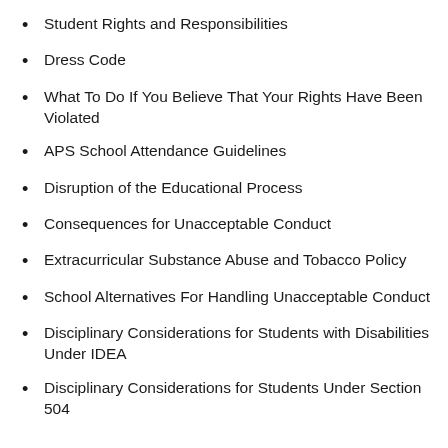Student Rights and Responsibilities
Dress Code
What To Do If You Believe That Your Rights Have Been Violated
APS School Attendance Guidelines
Disruption of the Educational Process
Consequences for Unacceptable Conduct
Extracurricular Substance Abuse and Tobacco Policy
School Alternatives For Handling Unacceptable Conduct
Disciplinary Considerations for Students with Disabilities Under IDEA
Disciplinary Considerations for Students Under Section 504